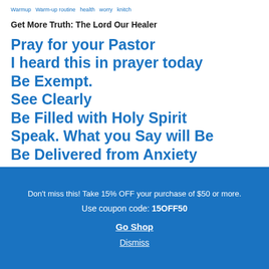Warmup Warm-up routine health worry knitch
Get More Truth: The Lord Our Healer
Pray for your Pastor
I heard this in prayer today
Be Exempt.
See Clearly
Be Filled with Holy Spirit
Speak. What you Say will Be
Be Delivered from Anxiety
Don't miss this! Take 15% OFF your purchase of $50 or more. Use coupon code: 15OFF50
Go Shop
Dismiss